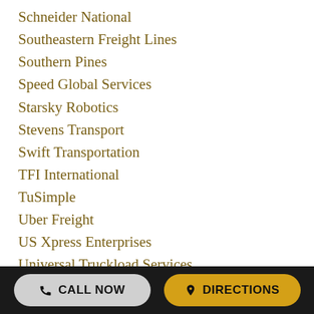Schneider National
Southeastern Freight Lines
Southern Pines
Speed Global Services
Starsky Robotics
Stevens Transport
Swift Transportation
TFI International
TuSimple
Uber Freight
US Xpress Enterprises
Universal Truckload Services
United Road Services
UPS
Van G Logistics
Walmart
Werner Enterprises
Western Express
XPO Logistics
CALL NOW   DIRECTIONS